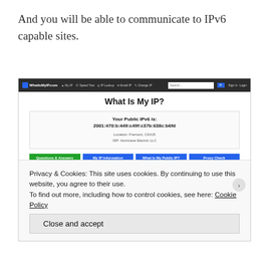And you will be able to communicate to IPv6 capable sites.
[Figure (screenshot): Screenshot of WhatIsMyIP.com website showing IPv6 address 2001:470:b:449:c49f:c37b:638c:b6fd with location Fremont, CA/US and ISP Hurricane Electric LLC. Buttons for Questions & Answers, My IP Information, What Is My Public IP, and Proxy Check. Below is a 'What Is My IP?' section with descriptive text. A cookie consent banner overlays the bottom reading 'Privacy & Cookies: This site uses cookies. By continuing to use this website, you agree to their use. To find out more, including how to control cookies, see here: Cookie Policy' with a 'Close and accept' button.]